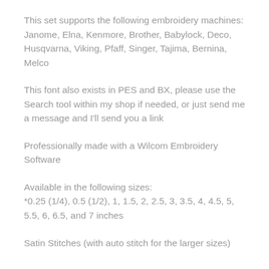This set supports the following embroidery machines: Janome, Elna, Kenmore, Brother, Babylock, Deco, Husqvarna, Viking, Pfaff, Singer, Tajima, Bernina, Melco
This font also exists in PES and BX, please use the Search tool within my shop if needed, or just send me a message and I'll send you a link
Professionally made with a Wilcom Embroidery Software
Available in the following sizes:
*0.25 (1/4), 0.5 (1/2), 1, 1.5, 2, 2.5, 3, 3.5, 4, 4.5, 5, 5.5, 6, 6.5, and 7 inches
Satin Stitches (with auto stitch for the larger sizes)